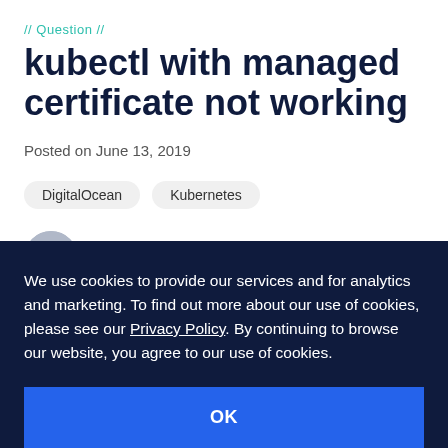// Question //
kubectl with managed certificate not working
Posted on June 13, 2019
DigitalOcean
Kubernetes
Asked by a2leM
We use cookies to provide our services and for analytics and marketing. To find out more about our use of cookies, please see our Privacy Policy. By continuing to browse our website, you agree to our use of cookies.
OK